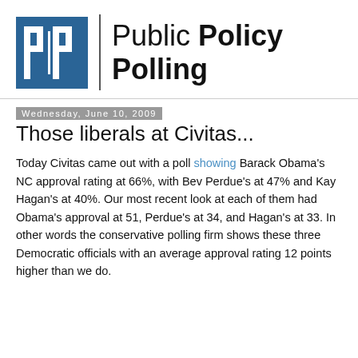[Figure (logo): Public Policy Polling logo: blue square with white stylized 'pp' letters and a vertical divider line, followed by large text 'Public Policy Polling']
Wednesday, June 10, 2009
Those liberals at Civitas...
Today Civitas came out with a poll showing Barack Obama's NC approval rating at 66%, with Bev Perdue's at 47% and Kay Hagan's at 40%. Our most recent look at each of them had Obama's approval at 51, Perdue's at 34, and Hagan's at 33. In other words the conservative polling firm shows these three Democratic officials with an average approval rating 12 points higher than we do.